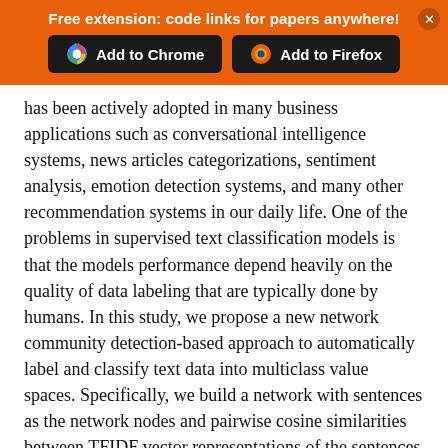[Figure (screenshot): Orange browser extension banner with 'Free extension: code links for papers anywhere!' and two buttons: 'Add to Chrome' and 'Add to Firefox']
has been actively adopted in many business applications such as conversational intelligence systems, news articles categorizations, sentiment analysis, emotion detection systems, and many other recommendation systems in our daily life. One of the problems in supervised text classification models is that the models performance depend heavily on the quality of data labeling that are typically done by humans. In this study, we propose a new network community detection-based approach to automatically label and classify text data into multiclass value spaces. Specifically, we build a network with sentences as the network nodes and pairwise cosine similarities between TFIDF vector representations of the sentences as the network link weights. We use the Louvain method to detect the communities in the sentence network. We train and test